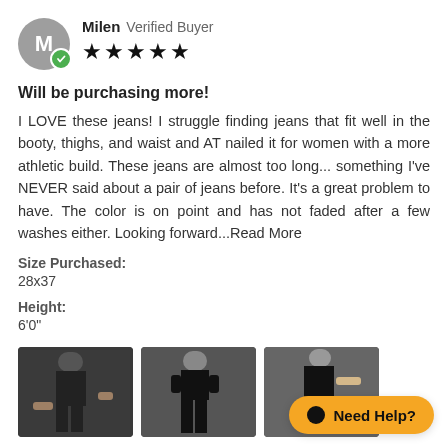Milen  Verified Buyer
★★★★★
Will be purchasing more!
I LOVE these jeans! I struggle finding jeans that fit well in the booty, thighs, and waist and AT nailed it for women with a more athletic build. These jeans are almost too long... something I've NEVER said about a pair of jeans before. It's a great problem to have. The color is on point and has not faded after a few washes either. Looking forward...Read More
Size Purchased:
28x37
Height:
6'0"
[Figure (photo): Three photos of a person wearing black jeans]
Need Help?